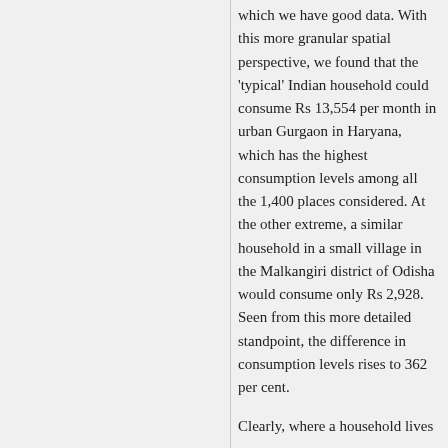which we have good data. With this more granular spatial perspective, we found that the 'typical' Indian household could consume Rs 13,554 per month in urban Gurgaon in Haryana, which has the highest consumption levels among all the 1,400 places considered. At the other extreme, a similar household in a small village in the Malkangiri district of Odisha would consume only Rs 2,928. Seen from this more detailed standpoint, the difference in consumption levels rises to 362 per cent.
Clearly, where a household lives